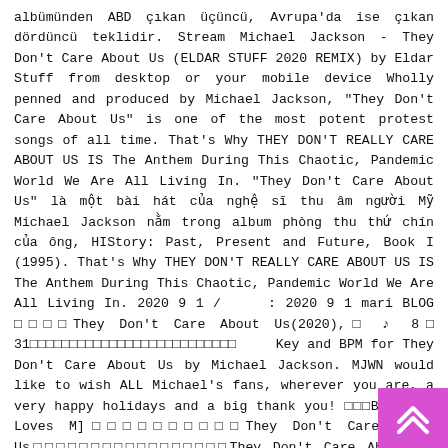albümünden ABD çıkan üçüncü, Avrupa'da ise çıkan dördüncü teklidir. Stream Michael Jackson - They Don't Care About Us (ELDAR STUFF 2020 REMIX) by Eldar Stuff from desktop or your mobile device Wholly penned and produced by Michael Jackson, "They Don't Care About Us" is one of the most potent protest songs of all time. That's Why THEY DON'T REALLY CARE ABOUT US IS The Anthem During This Chaotic, Pandemic World We Are All Living In. "They Don't Care About Us" là một bài hát của nghệ sĩ thu âm người Mỹ Michael Jackson nằm trong album phòng thu thứ chín của ông, HIStory: Past, Present and Future, Book I (1995). That's Why THEY DON'T REALLY CARE ABOUT US IS The Anthem During This Chaotic, Pandemic World We Are All Living In. 2020 9 1 / : 2020 9 1 mari BLOG □□□□They Don't Care About Us(2020),□ ♪ 8□ 31□□□□□□□□□□□□□□□□□□□□□□□□□□ Key and BPM for They Don't Care About Us by Michael Jackson. MJWN would like to wish ALL Michael's fans, wherever you are, a very happy holidays and a big thank you! □□□Brooklyn Loves M]□□□□□□□□□□They Don't Care About Us□□□□□□□□□□□□□□□□□They Don't Care About Us (2020)□□□□ □□□□□□□□□□□□□□□□□□□□ □□□□□□□□□□ That's Why THEY DON'T REALLY CARE ABOUT US IS The Anthem During This Chaotic, Pandemic World We Are All Living In. All I wanna say is that They don't really care about us In fact, the lyrics arguably ring
[Figure (other): Pink/magenta navigation button with double up-arrow chevron in bottom-right corner]